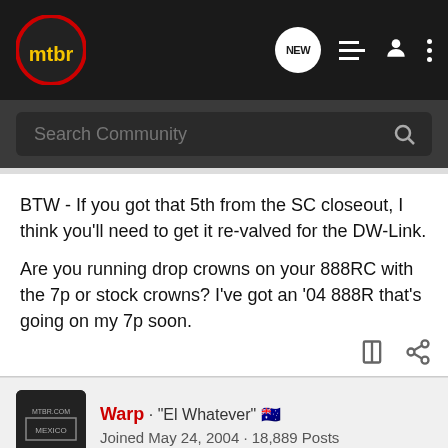[Figure (screenshot): mtbr.com logo on dark nav bar with navigation icons]
Search Community
BTW - If you got that 5th from the SC closeout, I think you'll need to get it re-valved for the DW-Link.

Are you running drop crowns on your 888RC with the 7p or stock crowns? I've got an '04 888R that's going on my 7p soon.
Warp · "El Whatever" 🇦🇺
Joined May 24, 2004 · 18,889 Posts
#4 · Jan 11, 2009
TNC said: